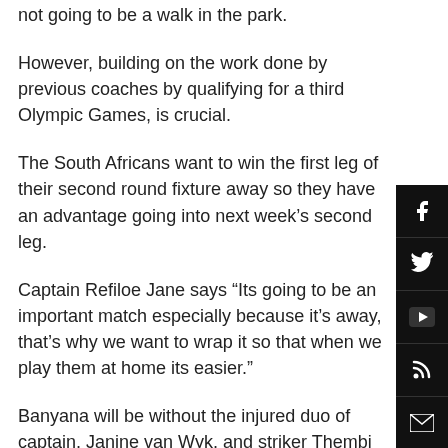not going to be a walk in the park.
However, building on the work done by previous coaches by qualifying for a third Olympic Games, is crucial.
The South Africans want to win the first leg of their second round fixture away so they have an advantage going into next week's second leg.
Captain Refiloe Jane says “Its going to be an important match especially because it’s away, that’s why we want to wrap it so that when we play them at home its easier.”
Banyana will be without the injured duo of captain, Janine van Wyk, and striker Thembi Kgatlana as well as her Beijing Phoenix team-mate, Linda Motlhalo.
Coach Desiree Ellis says: “I feel that the players that have come in are just as able to step up given a chance in the past and stepped up we are hoping they can do that also.”